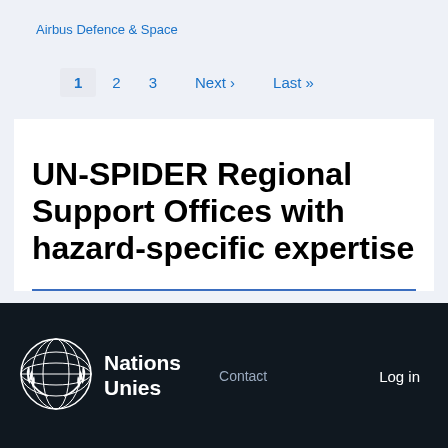Airbus Defence & Space
1  2  3  Next ›  Last »
UN-SPIDER Regional Support Offices with hazard-specific expertise
[Figure (logo): United Nations / Nations Unies emblem logo in white on dark background]
Nations Unies
Contact
Log in